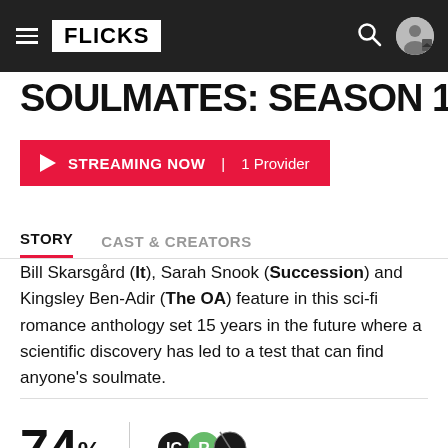FLICKS
SOULMATES: SEASON 1
STREAMING NOW | 1 Provider
STORY   CAST & CREATORS
Bill Skarsgård (It), Sarah Snook (Succession) and Kingsley Ben-Adir (The OA) feature in this sci-fi romance anthology set 15 years in the future where a scientific discovery has led to a test that can find anyone's soulmate.
74%